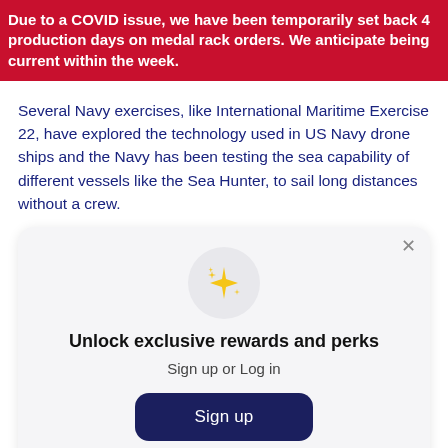Due to a COVID issue, we have been temporarily set back 4 production days on medal rack orders. We anticipate being current within the week.
Several Navy exercises, like International Maritime Exercise 22, have explored the technology used in US Navy drone ships and the Navy has been testing the sea capability of different vessels like the Sea Hunter, to sail long distances without a crew.
[Figure (screenshot): Modal popup with sparkle icon, title 'Unlock exclusive rewards and perks', subtitle 'Sign up or Log in', a dark navy Sign up button, and 'Already have an account? Sign in' link. Close button (×) in top right corner.]
For now, US Navy drone ships are experimenting with sensors and